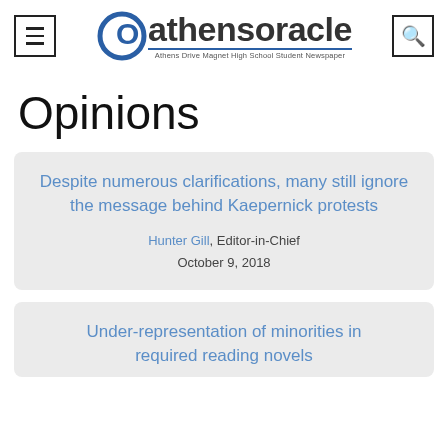Athens Oracle — Athens Drive Magnet High School Student Newspaper
Opinions
Despite numerous clarifications, many still ignore the message behind Kaepernick protests — Hunter Gill, Editor-in-Chief — October 9, 2018
Under-representation of minorities in required reading novels